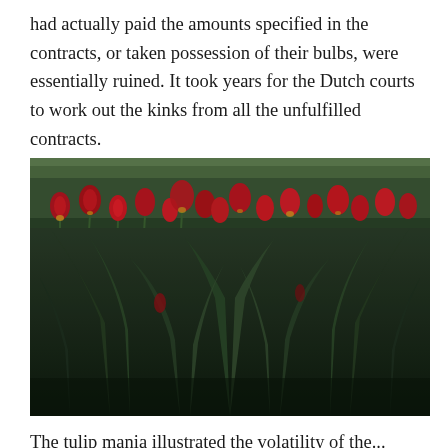had actually paid the amounts specified in the contracts, or taken possession of their bulbs, were essentially ruined. It took years for the Dutch courts to work out the kinks from all the unfulfilled contracts.
[Figure (photo): A field of red and yellow tulips photographed from a low angle, showing green leaves and stems in the foreground with blooming red tulips in the background.]
The tulip mania illustrated the volatility of the...